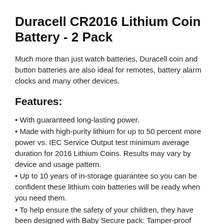Duracell CR2016 Lithium Coin Battery - 2 Pack
Much more than just watch batteries, Duracell coin and button batteries are also ideal for remotes, battery alarm clocks and many other devices.
Features:
• With guaranteed long-lasting power.
• Made with high-purity lithium for up to 50 percent more power vs. IEC Service Output test minimum average duration for 2016 Lithium Coins. Results may vary by device and usage pattern.
• Up to 10 years of in-storage guarantee so you can be confident these lithium coin batteries will be ready when you need them.
• To help ensure the safety of your children, they have been designed with Baby Secure pack: Tamper-proof pack with double blister so that it is impossible for a child to open without scissors.
• They are suitable for use in keyfobs, small remotes, scales, wearables, sensors, medical devices, glucometers, digital thermometers, sports devices, heart rate monitor, bike accessories.
• 2016 size batteries.
• Also known as CR 2016, 5000LC, 5000 LC.